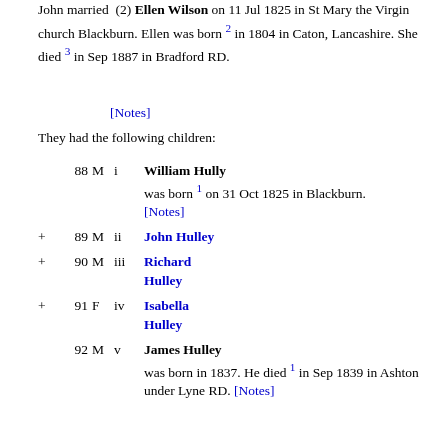John married (2) Ellen Wilson on 11 Jul 1825 in St Mary the Virgin church Blackburn. Ellen was born 2 in 1804 in Caton, Lancashire. She died 3 in Sep 1887 in Bradford RD.
[Notes]
They had the following children:
88 M i William Hully was born 1 on 31 Oct 1825 in Blackburn. [Notes]
+ 89 M ii John Hulley
+ 90 M iii Richard Hulley
+ 91 F iv Isabella Hulley
92 M v James Hulley was born in 1837. He died 1 in Sep 1839 in Ashton under Lyne RD. [Notes]